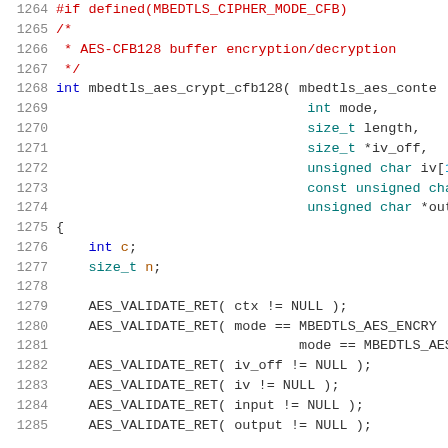[Figure (screenshot): Source code screenshot showing C code for mbedtls_aes_crypt_cfb128 function, lines 1264-1285, with syntax highlighting. Background is white, line numbers in gray, keywords in blue, types in teal, preprocessor/comments in red, macros in black.]